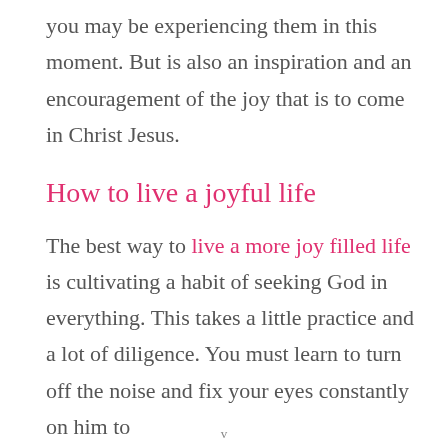you may be experiencing them in this moment. But is also an inspiration and an encouragement of the joy that is to come in Christ Jesus.
How to live a joyful life
The best way to live a more joy filled life is cultivating a habit of seeking God in everything. This takes a little practice and a lot of diligence. You must learn to turn off the noise and fix your eyes constantly on him to fully...
v